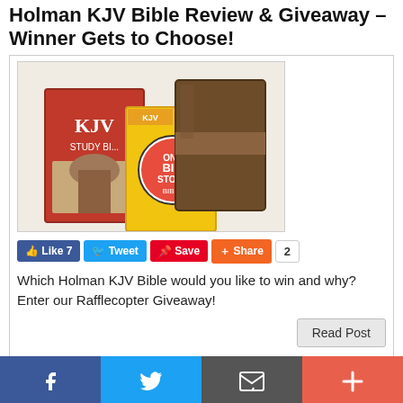Holman KJV Bible Review & Giveaway – Winner Gets to Choose!
[Figure (photo): Photo showing three Holman KJV Bible products: a red KJV Study Bible, a colorful 'One Big Story Bible' with cartoon figures, and a brown leather-bound Bible]
Like 7  Tweet  Save  Share  2
Which Holman KJV Bible would you like to win and why? Enter our Rafflecopter Giveaway!
Read Post
Goodbye, and God Be With You
f  (Twitter bird)  (email icon)  +